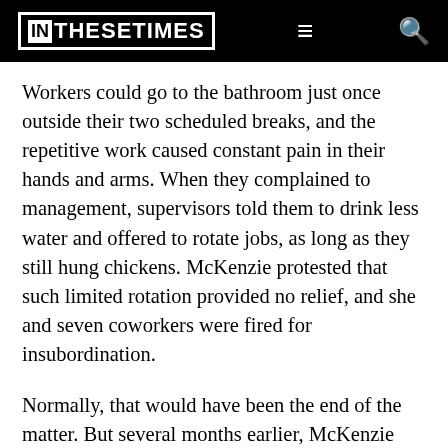IN THESE TIMES
Workers could go to the bathroom just once outside their two scheduled breaks, and the repetitive work caused constant pain in their hands and arms. When they complained to management, supervisors told them to drink less water and offered to rotate jobs, as long as they still hung chickens. McKenzie protested that such limited rotation provided no relief, and she and seven coworkers were fired for insubordination.
Normally, that would have been the end of the matter. But several months earlier, McKenzie had been one of the first workers at the plant to talk with Linda Cromer, a veteran organizer from the Retail, Wholesale and Department Store Union (RWDSU), a division of the United Food and Commercial